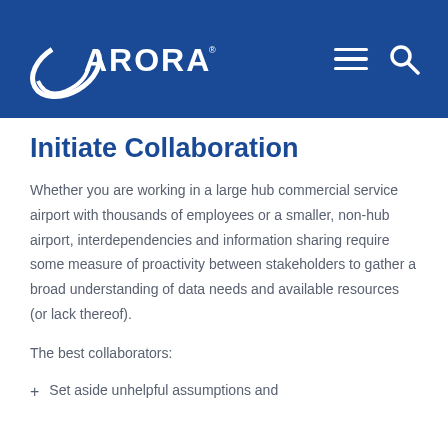ARORA
Initiate Collaboration
Whether you are working in a large hub commercial service airport with thousands of employees or a smaller, non-hub airport, interdependencies and information sharing require some measure of proactivity between stakeholders to gather a broad understanding of data needs and available resources (or lack thereof).
The best collaborators:
Set aside unhelpful assumptions and